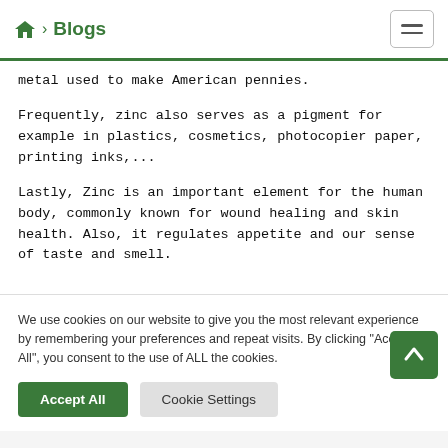🏠 > Blogs
metal used to make American pennies.
Frequently, zinc also serves as a pigment for example in plastics, cosmetics, photocopier paper, printing inks,...
Lastly, Zinc is an important element for the human body, commonly known for wound healing and skin health. Also, it regulates appetite and our sense of taste and smell.
We use cookies on our website to give you the most relevant experience by remembering your preferences and repeat visits. By clicking "Accept All", you consent to the use of ALL the cookies.